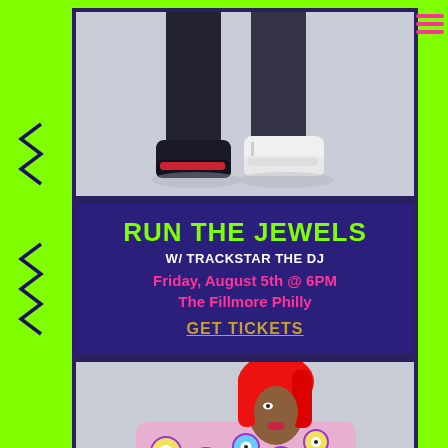[Figure (photo): Cropped photo showing two people's legs and sneakers from the waist down against a light gray background]
RUN THE JEWELS
W/ TRACKSTAR THE DJ
Friday, August 5th @ 6PM
The Fillmore Philly
GET TICKETS
[Figure (photo): Photo of a woman with long red hair wearing a colorful patterned jacket, facing sideways against a light gray background]